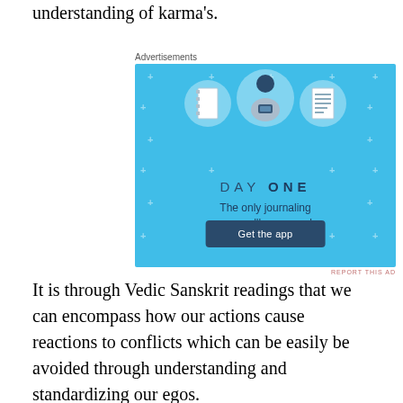understanding of karma's.
[Figure (infographic): Day One journaling app advertisement. Light blue background with plus signs scattered throughout. Three circular icons at the top showing a notebook, a person holding a phone, and a list/document. Text reads 'DAY ONE' in spaced letters, 'The only journaling app you'll ever need.' and a dark blue 'Get the app' button.]
Advertisements
It is through Vedic Sanskrit readings that we can encompass how our actions cause reactions to conflicts which can be easily be avoided through understanding and standardizing our egos.